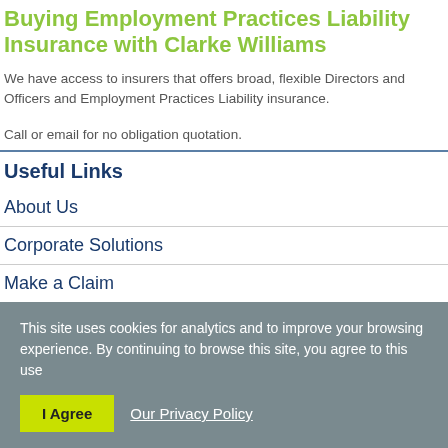Buying Employment Practices Liability Insurance with Clarke Williams
We have access to insurers that offers broad, flexible Directors and Officers and Employment Practices Liability insurance.
Call or email for no obligation quotation.
Useful Links
About Us
Corporate Solutions
Make a Claim
This site uses cookies for analytics and to improve your browsing experience. By continuing to browse this site, you agree to this use
I Agree   Our Privacy Policy